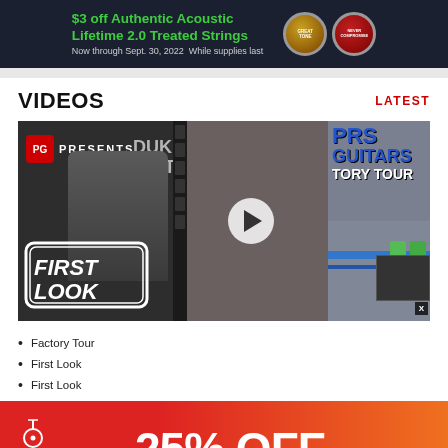[Figure (infographic): Top banner ad: $3 off Authentic Acoustic Lifetime 2.0 Treated Strings, Now through Sept. 30, 2022 While supplies last, with two circular badges]
VIDEOS
LATEST
[Figure (screenshot): Video player with two overlapping videos: left shows PG Presents First Look with person holding guitar and MXR Duke of Tone text; right shows PRS Guitars Factory Tour. Play button visible in center.]
Factory Tour
First Look
First Look
First Look: MXR Duke of Tone
[Figure (infographic): Guitar Center advertisement banner: 25% OFF with Guitar Center logo, gradient red to orange background]